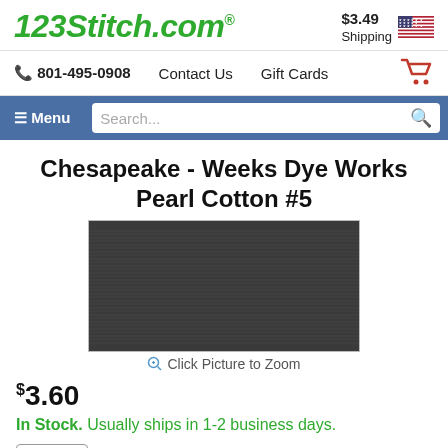123Stitch.com | $3.49 Shipping
801-495-0908  Contact Us  Gift Cards
Menu  Search...
Chesapeake - Weeks Dye Works Pearl Cotton #5
[Figure (photo): Close-up photo of dark gray/charcoal pearl cotton thread showing texture of twisted fibers]
Click Picture to Zoom
$3.60
In Stock. Usually ships in 1-2 business days.
1  Add to Cart  Add to Wish List
Item: WP3950
Type: Thread and Floss